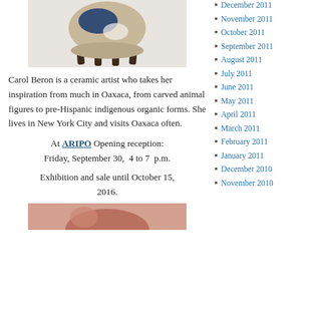[Figure (photo): Ceramic sculpture: a round ceramic vessel with blue and white glazing, resting on four dark wooden legs, on white background]
Carol Beron is a ceramic artist who takes her inspiration from much in Oaxaca, from carved animal figures to pre-Hispanic indigenous organic forms. She lives in New York City and visits Oaxaca often.
At ARIPO Opening reception: Friday, September 30,  4 to 7  p.m.
Exhibition and sale until October 15, 2016.
[Figure (photo): Partial view of another ceramic artwork (bottom of page, cropped)]
December 2011
November 2011
October 2011
September 2011
August 2011
July 2011
June 2011
May 2011
April 2011
March 2011
February 2011
January 2011
December 2010
November 2010